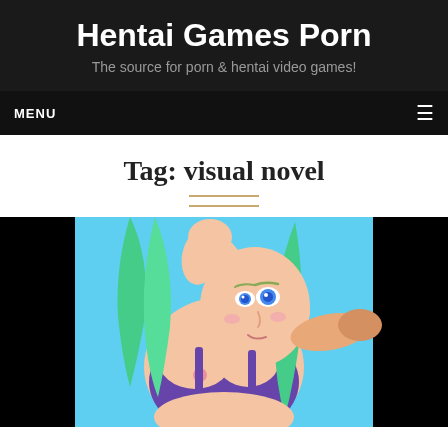Hentai Games Porn
The source for porn & hentai video games!
Tag: visual novel
[Figure (illustration): Anime-style illustration of a female character with green hair and blue eyes wearing a purple outfit, on a cyan background with black borders on sides]